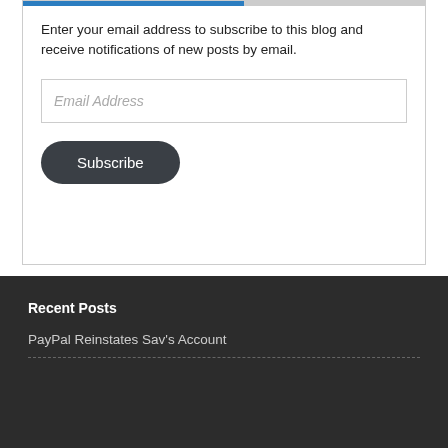Enter your email address to subscribe to this blog and receive notifications of new posts by email.
Email Address
Subscribe
Recent Posts
PayPal Reinstates Sav's Account